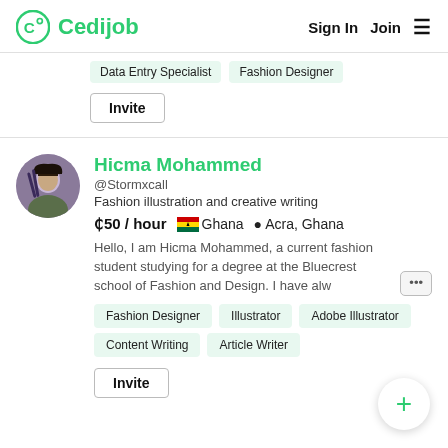Cedijob | Sign In | Join
Data Entry Specialist | Fashion Designer
Invite
Hicma Mohammed
@Stormxcall
Fashion illustration and creative writing
₵50 / hour  Ghana  Acra, Ghana
Hello, I am Hicma Mohammed, a current fashion student studying for a degree at the Bluecrest school of Fashion and Design. I have alw ...
Fashion Designer
Illustrator
Adobe Illustrator
Content Writing
Article Writer
Invite